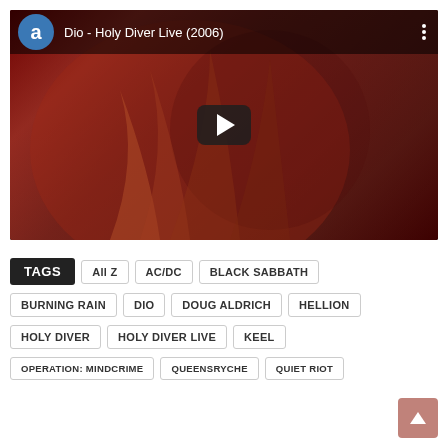[Figure (screenshot): YouTube video thumbnail for 'Dio - Holy Diver Live (2006)' showing a rock musician with long reddish hair under red stage lighting, with a play button overlay and video header showing an avatar with letter 'a' and three-dot menu.]
TAGS   All Z   AC/DC   BLACK SABBATH
BURNING RAIN   DIO   DOUG ALDRICH   HELLION
HOLY DIVER   HOLY DIVER LIVE   KEEL
OPERATION: MINDCRIME   QUEENSRYCHE   QUIET RIOT